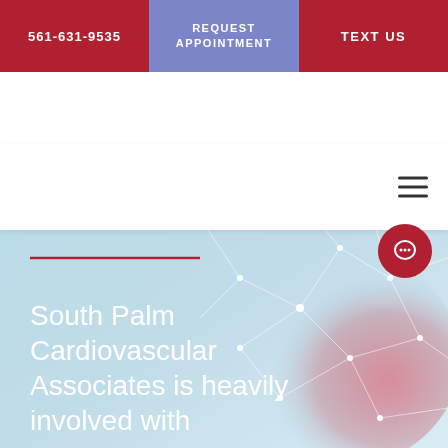561-631-9535 | REQUEST APPOINTMENT | TEXT US
[Figure (screenshot): Medical website header with hamburger menu icon on white background]
[Figure (photo): Blue-toned hero image with abstract heart network/polygon graphic overlay and red accent line]
South Palm Cardiovascular Associates is heavily involved with
[Figure (other): Chat popup widget with X close button reading: Have a question? Message us here!]